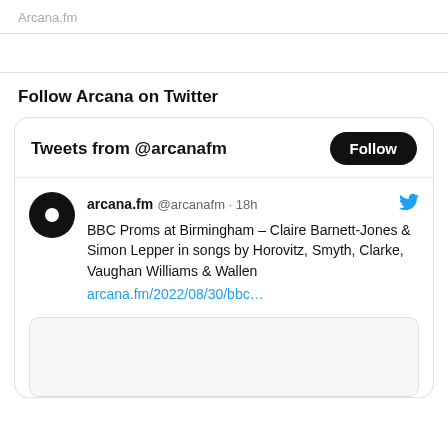Arcana.fm
Follow Arcana on Twitter
[Figure (screenshot): Twitter widget showing tweets from @arcanafm with a Follow button, and a tweet from arcana.fm @arcanafm 18h about BBC Proms at Birmingham – Claire Barnett-Jones & Simon Lepper in songs by Horovitz, Smyth, Clarke, Vaughan Williams & Wallen, with a link arcana.fm/2022/08/30/bbc… and a partial image below.]